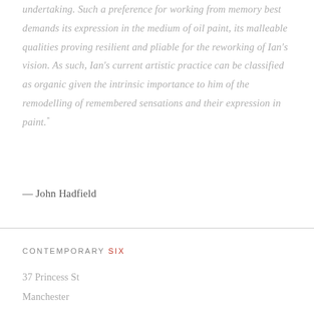undertaking. Such a preference for working from memory best demands its expression in the medium of oil paint, its malleable qualities proving resilient and pliable for the reworking of Ian's vision. As such, Ian's current artistic practice can be classified as organic given the intrinsic importance to him of the remodelling of remembered sensations and their expression in paint.
— John Hadfield
CONTEMPORARY SIX
37 Princess St
Manchester